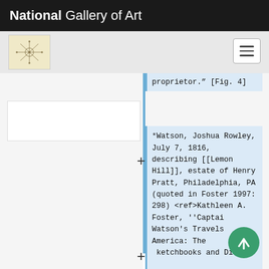National Gallery of Art
[Figure (logo): National Gallery of Art stamp/seal icon, small beige square with compass rose design]
[Figure (other): Hamburger menu button (three horizontal lines) in a rounded rectangle]
proprietor." [Fig. 4]
*Watson, Joshua Rowley, July 7, 1816, describing [[Lemon Hill]], estate of Henry Pratt, Philadelphia, PA (quoted in Foster 1997: 298) <ref>Kathleen A. Foster, ''Captain Watson's Travels America: The Sketchbooks and Diary